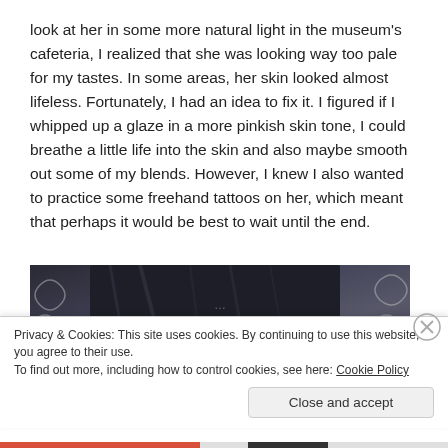look at her in some more natural light in the museum's cafeteria, I realized that she was looking way too pale for my tastes. In some areas, her skin looked almost lifeless. Fortunately, I had an idea to fix it. I figured if I whipped up a glaze in a more pinkish skin tone, I could breathe a little life into the skin and also maybe smooth out some of my blends. However, I knew I also wanted to practice some freehand tattoos on her, which meant that perhaps it would be best to wait until the end.
[Figure (photo): Close-up photo of what appears to be dark fabric or clothing on a decorative background]
Privacy & Cookies: This site uses cookies. By continuing to use this website, you agree to their use.
To find out more, including how to control cookies, see here: Cookie Policy
Close and accept